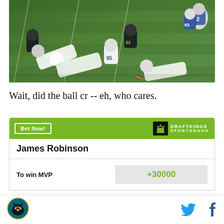[Figure (photo): Aerial view of NFL football game action, Buffalo Bills (white uniforms) tackling Jacksonville Jaguars players (black/teal) on a green field. Player numbers visible include 2, 63, 85.]
Wait, did the ball cr -- eh, who cares.
| James Robinson |
| To win MVP | +30000 |
Jaguars logo, Twitter icon, Facebook icon